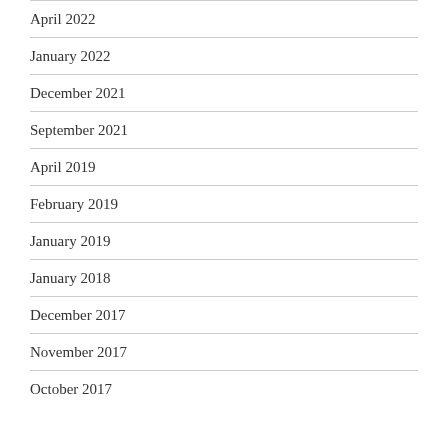April 2022
January 2022
December 2021
September 2021
April 2019
February 2019
January 2019
January 2018
December 2017
November 2017
October 2017